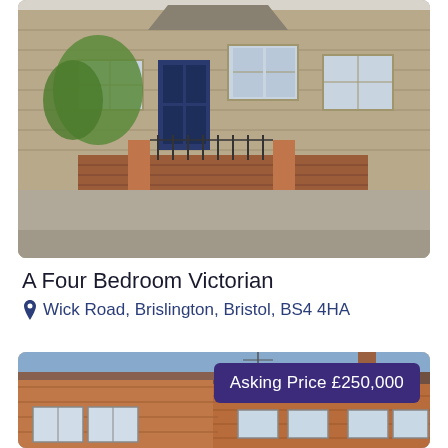[Figure (photo): Exterior photo of a Victorian terraced house with stone facade, dark blue front door, iron railings, brick garden wall, and street in foreground.]
A Four Bedroom Victorian
Wick Road, Brislington, Bristol, BS4 4HA
[Figure (photo): Exterior photo of a red-brick terraced house with white-framed windows, rooftop, and blue sky background. Overlaid badge reads: Asking Price £250,000]
Asking Price £250,000